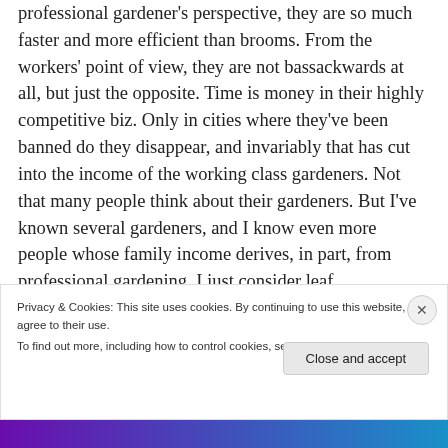professional gardener's perspective, they are so much faster and more efficient than brooms. From the workers' point of view, they are not bassackwards at all, but just the opposite. Time is money in their highly competitive biz. Only in cities where they've been banned do they disappear, and invariably that has cut into the income of the working class gardeners. Not that many people think about their gardeners. But I've known several gardeners, and I know even more people whose family income derives, in part, from professional gardening. I just consider leaf
Privacy & Cookies: This site uses cookies. By continuing to use this website, you agree to their use.
To find out more, including how to control cookies, see here: Cookie Policy